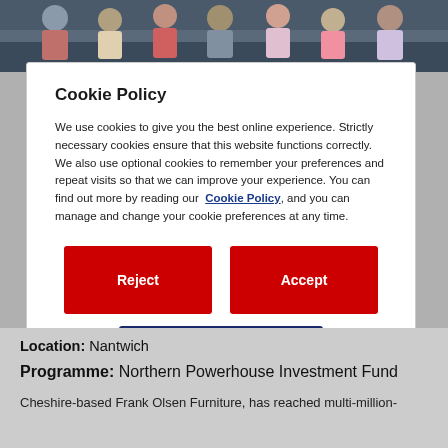[Figure (photo): Group photo of several people sitting on stairs]
Cookie Policy
We use cookies to give you the best online experience. Strictly necessary cookies ensure that this website functions correctly. We also use optional cookies to remember your preferences and repeat visits so that we can improve your experience. You can find out more by reading our Cookie Policy, and you can manage and change your cookie preferences at any time.
Reject | Accept | Cookies Settings
Location: Nantwich
Programme: Northern Powerhouse Investment Fund
Cheshire-based Frank Olsen Furniture, has reached multi-million-